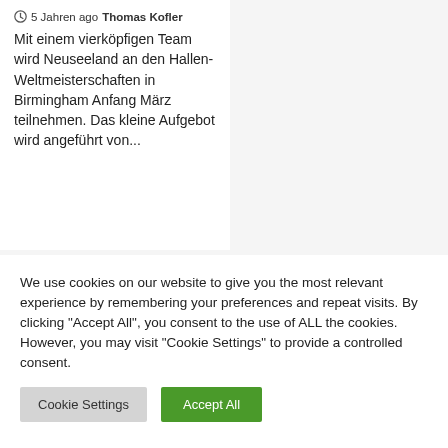5 Jahren ago Thomas Kofler
Mit einem vierköpfigen Team wird Neuseeland an den Hallen-Weltmeisterschaften in Birmingham Anfang März teilnehmen. Das kleine Aufgebot wird angeführt von...
We use cookies on our website to give you the most relevant experience by remembering your preferences and repeat visits. By clicking "Accept All", you consent to the use of ALL the cookies. However, you may visit "Cookie Settings" to provide a controlled consent.